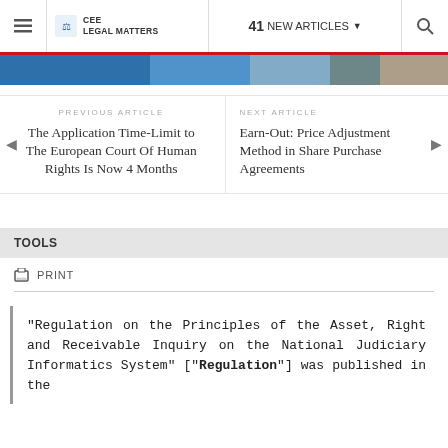CEE Legal Matters | 41 NEW ARTICLES
[Figure (photo): Partial image strip showing people, blue tones]
PREVIOUS ARTICLE
The Application Time-Limit to The European Court Of Human Rights Is Now 4 Months
NEXT ARTICLE
Earn-Out: Price Adjustment Method in Share Purchase Agreements
TOOLS
PRINT
"Regulation on the Principles of the Asset, Right and Receivable Inquiry on the National Judiciary Informatics System" ["Regulation"] was published in the